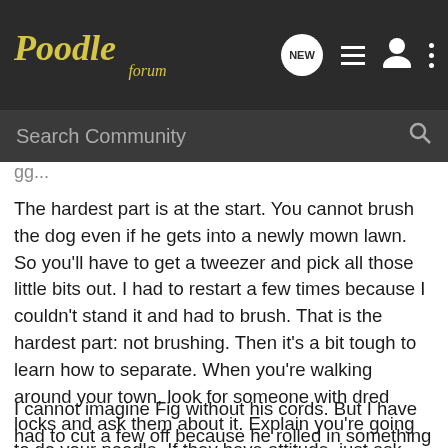Poodle forum
Search Community
The hardest part is at the start. You cannot brush the dog even if he gets into a newly mown lawn. So you'll have to get a tweezer and pick all those little bits out. I had to restart a few times because I couldn't stand it and had to brush. That is the hardest part: not brushing. Then it's a bit tough to learn how to separate. When you're walking around your town, look for someone with dred locks and ask them about it. Explain you're going to do your poodle. If they have attitude, just ask someone else. They'll probably show you how to separate. People with less even locks might be more friendly about it because they've done it over a long time and naturally.
I cannot imagine Fig without his cords. But I have had to cut a few off because he rolled in something tar-like. The cords start